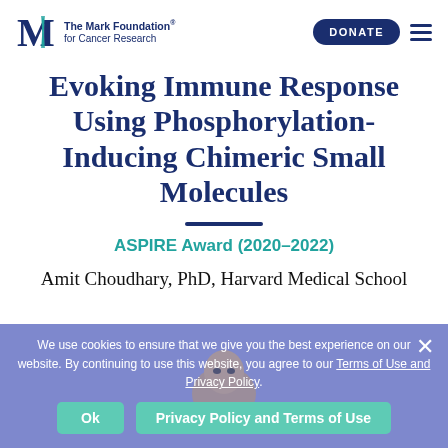The Mark Foundation for Cancer Research | DONATE
Evoking Immune Response Using Phosphorylation-Inducing Chimeric Small Molecules
ASPIRE Award (2020-2022)
Amit Choudhary, PhD, Harvard Medical School
We use cookies to ensure that we give you the best experience on our website. By continuing to use this website, you agree to our Terms of Use and Privacy Policy.
Ok | Privacy Policy and Terms of Use